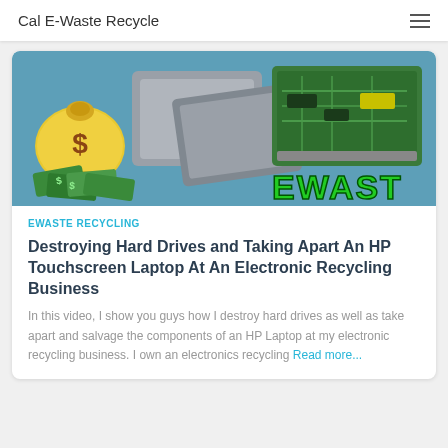Cal E-Waste Recycle
[Figure (photo): Banner image showing e-waste components: a gold money bag with dollar sign, green cash bills, hard drives, a circuit board/motherboard, and 'EWASTE' text in green graffiti style on a blue background.]
EWASTE RECYCLING
Destroying Hard Drives and Taking Apart An HP Touchscreen Laptop At An Electronic Recycling Business
In this video, I show you guys how I destroy hard drives as well as take apart and salvage the components of an HP Laptop at my electronic recycling business. I own an electronics recycling Read more...